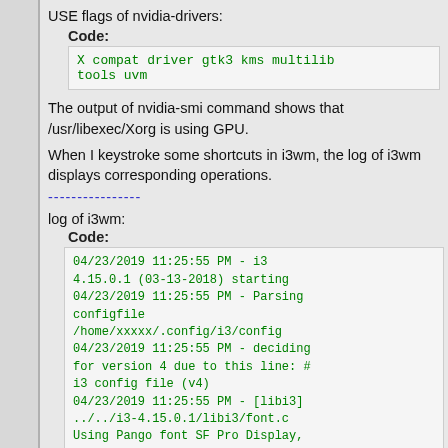USE flags of nvidia-drivers:
Code:
X compat driver gtk3 kms multilib tools uvm
The output of nvidia-smi command shows that /usr/libexec/Xorg is using GPU.
When I keystroke some shortcuts in i3wm, the log of i3wm displays corresponding operations.
----------------
log of i3wm:
Code:
04/23/2019 11:25:55 PM - i3 4.15.0.1 (03-13-2018) starting
04/23/2019 11:25:55 PM - Parsing configfile
/home/xxxxx/.config/i3/config
04/23/2019 11:25:55 PM - deciding for version 4 due to this line: # i3 config file (v4)
04/23/2019 11:25:55 PM - [libi3] ../../i3-4.15.0.1/libi3/font.c Using Pango font SF Pro Display,